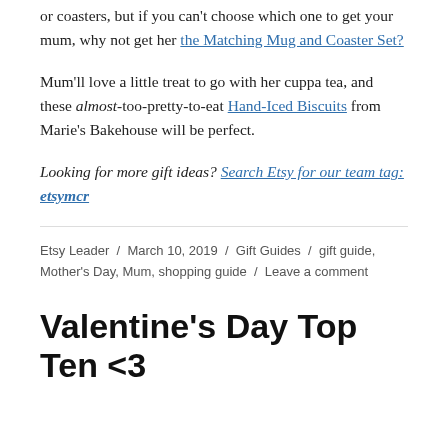or coasters, but if you can't choose which one to get your mum, why not get her the Matching Mug and Coaster Set?
Mum'll love a little treat to go with her cuppa tea, and these almost-too-pretty-to-eat Hand-Iced Biscuits from Marie's Bakehouse will be perfect.
Looking for more gift ideas? Search Etsy for our team tag: etsymcr
Etsy Leader / March 10, 2019 / Gift Guides / gift guide, Mother's Day, Mum, shopping guide / Leave a comment
Valentine's Day Top Ten <3